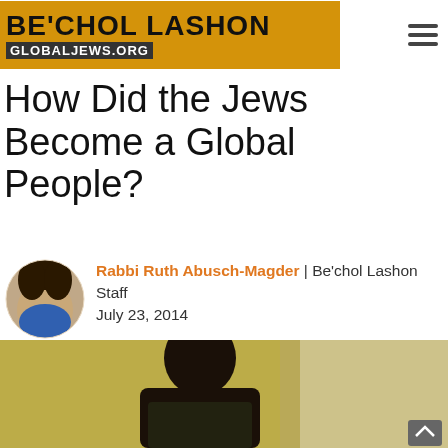BE'CHOL LASHON | GLOBALJEWS.ORG
How Did the Jews Become a Global People?
Rabbi Ruth Abusch-Magder | Be'chol Lashon Staff
July 23, 2014
[Figure (photo): Portrait photo of Rabbi Ruth Abusch-Magder, a woman with dark curly hair smiling, circular crop]
[Figure (photo): Bottom photo showing a person, partially visible, appears to be a young Black man in an educational or meeting setting]